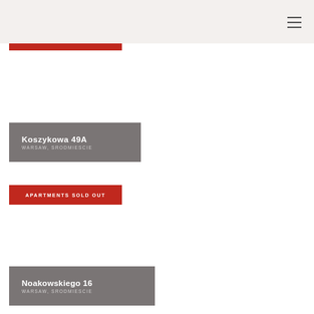[Figure (other): Hamburger menu icon (three horizontal lines)]
Koszykowa 49A — WARSAW, SRODMIESCIE
APARTMENTS SOLD OUT
Noakowskiego 16 — WARSAW, SRODMIESCIE